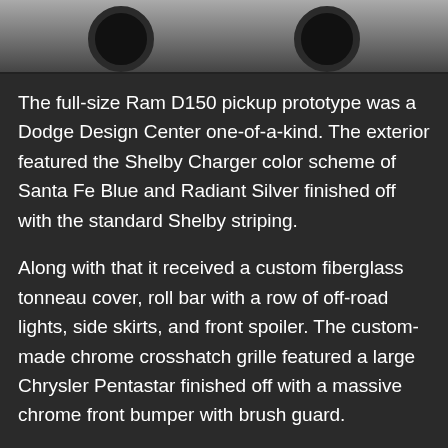[Figure (photo): Bottom portion of a truck/pickup prototype showing two tires against a light background]
The full-size Ram D150 pickup prototype was a Dodge Design Center one-of-a-kind. The exterior featured the Shelby Charger color scheme of Santa Fe Blue and Radiant Silver finished off with the standard Shelby striping.
Along with that it received a custom fiberglass tonneau cover, roll bar with a row of off-road lights, side skirts, and front spoiler. The custom-made chrome crosshatch grille featured a large Chrysler Pentastar finished off with a massive chrome front bumper with brush guard.